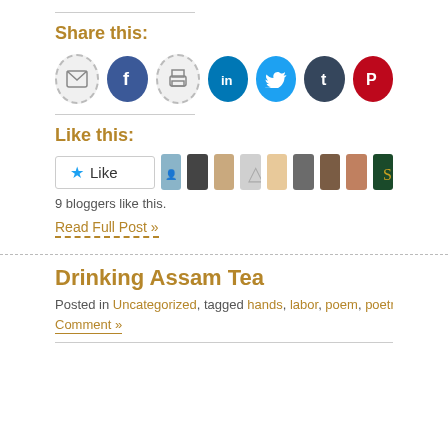Share this:
[Figure (infographic): Row of social sharing icon buttons: email (dashed circle), Facebook (blue circle with f), print (dashed circle with printer), LinkedIn (teal circle with in), Twitter (light blue circle with bird), Tumblr (dark blue circle with t), Pinterest (red circle with P)]
Like this:
[Figure (infographic): Like button with star icon followed by 9 blogger avatar thumbnails]
9 bloggers like this.
Read Full Post »
Drinking Assam Tea
Posted in Uncategorized, tagged hands, labor, poem, poetry, tea on November 20, 201 Comment »